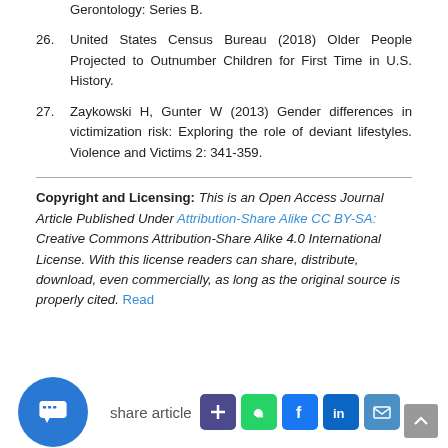Gerontology: Series B.
26. United States Census Bureau (2018) Older People Projected to Outnumber Children for First Time in U.S. History.
27. Zaykowski H, Gunter W (2013) Gender differences in victimization risk: Exploring the role of deviant lifestyles. Violence and Victims 2: 341-359.
Copyright and Licensing: This is an Open Access Journal Article Published Under Attribution-Share Alike CC BY-SA: Creative Commons Attribution-Share Alike 4.0 International License. With this license readers can share, distribute, download, even commercially, as long as the original source is properly cited. Read